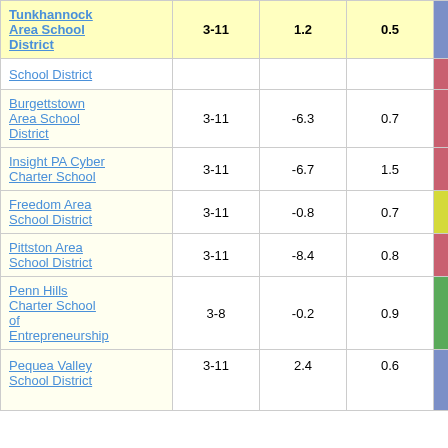| School/District | Grades | Col3 | Col4 | Score |
| --- | --- | --- | --- | --- |
| Tunkhannock Area School District | 3-11 | 1.2 | 0.5 | 2.30 |
| School District |  |  |  |  |
| Burgettstown Area School District | 3-11 | -6.3 | 0.7 | -8.88 |
| Insight PA Cyber Charter School | 3-11 | -6.7 | 1.5 | -4.37 |
| Freedom Area School District | 3-11 | -0.8 | 0.7 | -1.20 |
| Pittston Area School District | 3-11 | -8.4 | 0.8 | -11.15 |
| Penn Hills Charter School of Entrepreneurship | 3-8 | -0.2 | 0.9 | -0.20 |
| Pequea Valley School District | 3-11 | 2.4 | 0.6 | 4.09 |